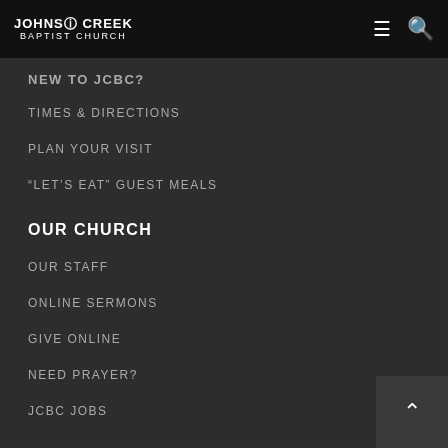Johns Creek Baptist Church
NEW TO JCBC?
TIMES & DIRECTIONS
PLAN YOUR VISIT
“LET’S EAT” GUEST MEALS
OUR CHURCH
OUR STAFF
ONLINE SERMONS
GIVE ONLINE
NEED PRAYER?
JCBC JOBS
MINISTRIES
JCBC KIDS
YOUTH MINISTRY